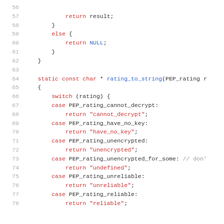Source code listing lines 56-78, C code for rating_to_string function